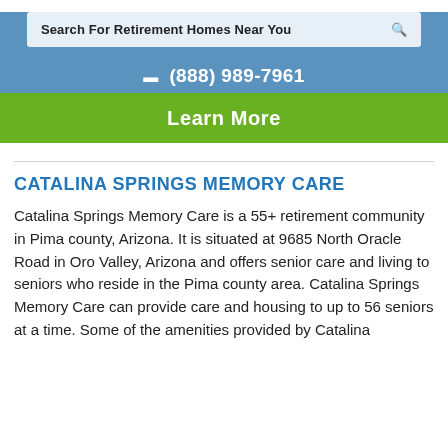Search For Retirement Homes Near You
☎ (888) 989-7961
Learn More
CATALINA SPRINGS MEMORY CARE
Catalina Springs Memory Care is a 55+ retirement community in Pima county, Arizona. It is situated at 9685 North Oracle Road in Oro Valley, Arizona and offers senior care and living to seniors who reside in the Pima county area. Catalina Springs Memory Care can provide care and housing to up to 56 seniors at a time. Some of the amenities provided by Catalina Springs Memory Care include the following: